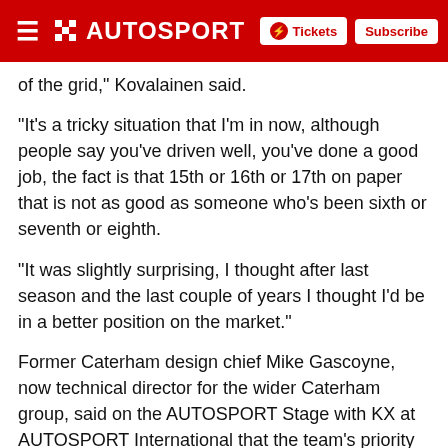AUTOSPORT | Tickets | Subscribe
of the grid," Kovalainen said.
"It's a tricky situation that I'm in now, although people say you've driven well, you've done a good job, the fact is that 15th or 16th or 17th on paper that is not as good as someone who's been sixth or seventh or eighth.
"It was slightly surprising, I thought after last season and the last couple of years I thought I'd be in a better position on the market."
Former Caterham design chief Mike Gascoyne, now technical director for the wider Caterham group, said on the AUTOSPORT Stage with KX at AUTOSPORT International that the team's priority in its 2013 driver choice had to be its long-term health.